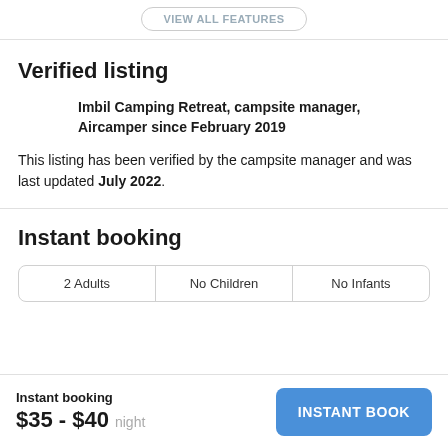VIEW ALL FEATURES
Verified listing
Imbil Camping Retreat, campsite manager, Aircamper since February 2019
This listing has been verified by the campsite manager and was last updated July 2022.
Instant booking
| 2 Adults | No Children | No Infants |
| --- | --- | --- |
Instant booking
$35 - $40 night
INSTANT BOOK